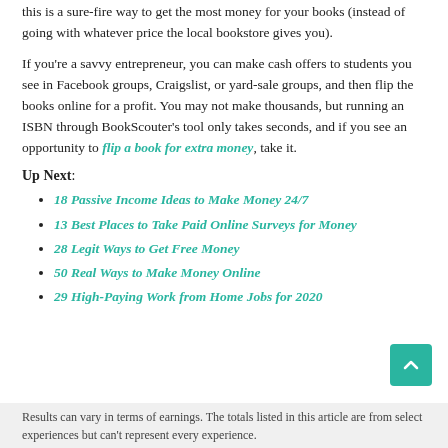this is a sure-fire way to get the most money for your books (instead of going with whatever price the local bookstore gives you).
If you’re a savvy entrepreneur, you can make cash offers to students you see in Facebook groups, Craigslist, or yard-sale groups, and then flip the books online for a profit. You may not make thousands, but running an ISBN through BookScouter’s tool only takes seconds, and if you see an opportunity to flip a book for extra money, take it.
Up Next:
18 Passive Income Ideas to Make Money 24/7
13 Best Places to Take Paid Online Surveys for Money
28 Legit Ways to Get Free Money
50 Real Ways to Make Money Online
29 High-Paying Work from Home Jobs for 2020
Results can vary in terms of earnings. The totals listed in this article are from select experiences but can’t represent every experience.